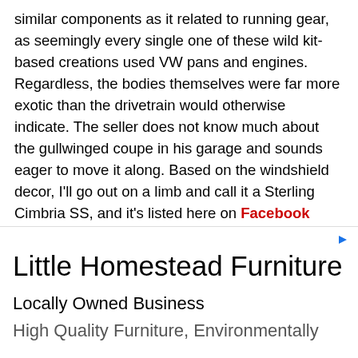similar components as it related to running gear, as seemingly every single one of these wild kit-based creations used VW pans and engines. Regardless, the bodies themselves were far more exotic than the drivetrain would otherwise indicate. The seller does not know much about the gullwinged coupe in his garage and sounds eager to move it along. Based on the windshield decor, I'll go out on a limb and call it a Sterling Cimbria SS, and it's listed here on Facebook Marketplace in Edgecomb, Maine for $4,500.
[Figure (other): Advertisement box for Little Homestead Furniture with taglines 'Locally Owned Business' and 'High Quality Furniture, Environmentally']